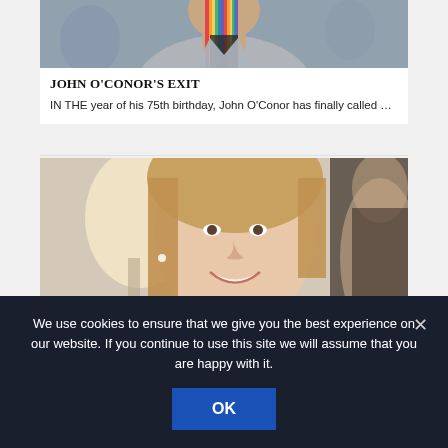[Figure (photo): Photo of a person wearing a grey blazer and a colorful striped rainbow scarf against a dark background]
JOHN O'CONOR'S EXIT
IN THE year of his 75th birthday, John O'Conor has finally called …
[Figure (photo): Photo of a smiling woman with blonde hair, wearing pearl earrings, against a light interior background with a lamp visible]
We use cookies to ensure that we give you the best experience on our website. If you continue to use this site we will assume that you are happy with it.